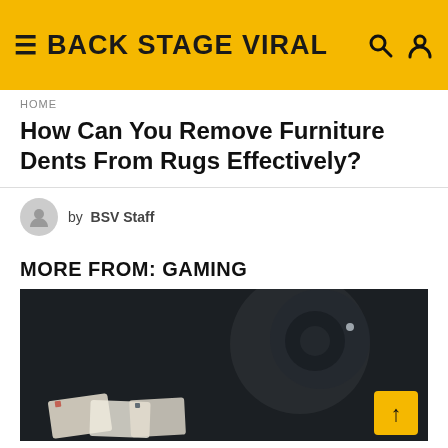BACK STAGE VIRAL
HOME
How Can You Remove Furniture Dents From Rugs Effectively?
by BSV Staff
MORE FROM: GAMING
[Figure (photo): Dark blurred photo showing what appears to be playing cards and a camera lens in the background, gaming related image]